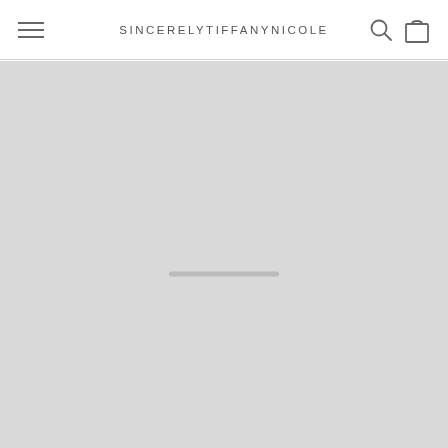SINCERELYTIFFANYNICOLE
[Figure (screenshot): Loading/placeholder gray area representing a webpage content section that has not yet loaded, with a subtle loading bar indicator in the center.]